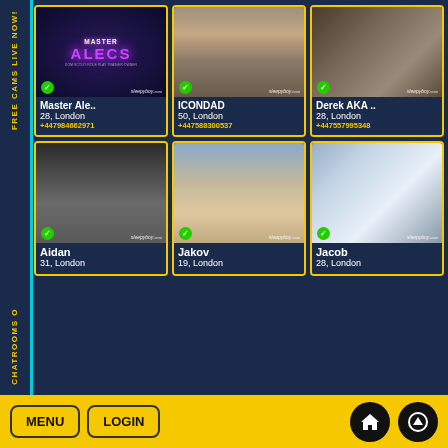[Figure (screenshot): Adult webcam/escort listing website showing 6 profile cards in a 3x2 grid with names, ages, locations (London), and phone numbers. Left sidebar reads FREE CAMS LIVE NOW! and Chatrooms. Bottom navigation bar with MENU and LOGIN buttons.]
Master Ale..
28, London
+447984662971
ICONDAD
50, London
+447588300537
Derek AKA ..
28, London
+447557995348
Aidan
31, London
Jakov
19, London
Jacob
28, London
MENU  LOGIN